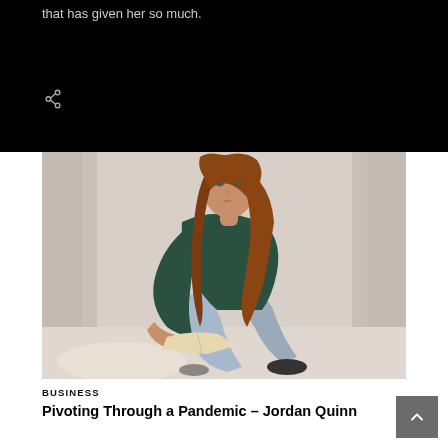that has given her so much.
[Figure (photo): Young woman with long auburn hair sitting cross-legged on a light surface, wearing a dark green sweater and light blue jeans, holding an open book, with white curtains in background]
BUSINESS
Pivoting Through a Pandemic – Jordan Quinn